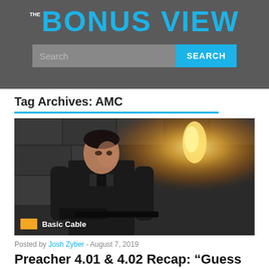THE BONUS VIEW
[Figure (screenshot): Search bar with 'Search' placeholder text and a blue 'SEARCH' button on dark grey background]
Tag Archives: AMC
[Figure (photo): Dark scene photo of a man in black clothing looking to the side, with a torch/flame in background, with 'Basic Cable' tag overlay]
Posted by Josh Zyber - August 7, 2019
Preacher 4.01 & 4.02 Recap: “Guess We All Gotta Die So